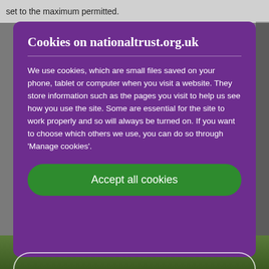set to the maximum permitted.
Cookies on nationaltrust.org.uk
We use cookies, which are small files saved on your phone, tablet or computer when you visit a website. They store information such as the pages you visit to help us see how you use the site. Some are essential for the site to work properly and so will always be turned on. If you want to choose which others we use, you can do so through 'Manage cookies'.
Accept all cookies